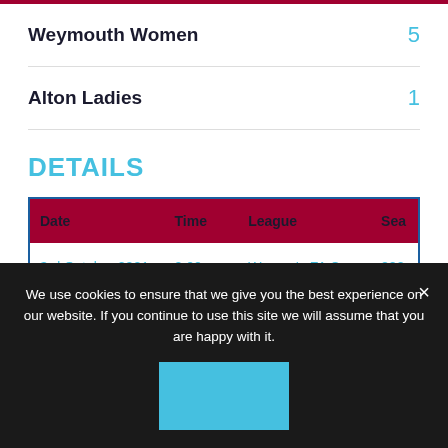Weymouth Women   5
Alton Ladies   1
DETAILS
| Date | Time | League | Sea... |
| --- | --- | --- | --- |
| 3rd October 2021 | 2:00 pm | Women's FA Cup | 202... |
We use cookies to ensure that we give you the best experience on our website. If you continue to use this site we will assume that you are happy with it.